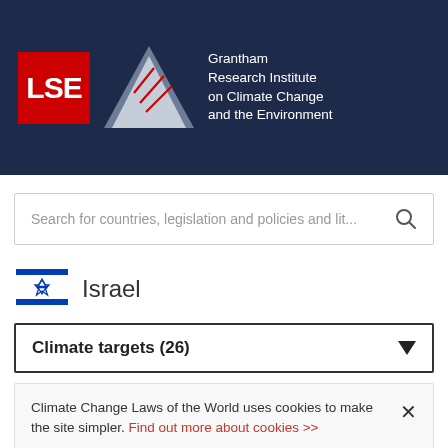[Figure (logo): LSE and Grantham Research Institute on Climate Change and the Environment logo on dark navy header background]
Search for countries, legislation and policies and lit...
Israel
Climate targets (26)
Climate Change Laws of the World uses cookies to make the site simpler. Find out more about cookies >>